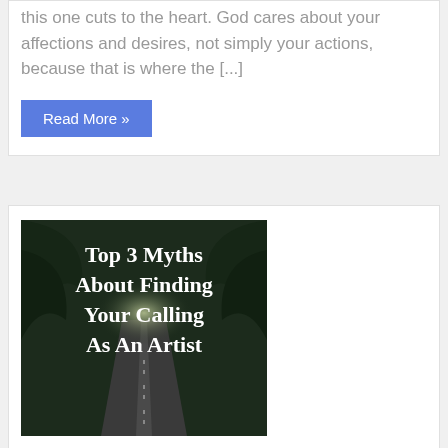this one cuts to the heart. God cares about your affections and desires, not simply your actions, because that is where the [...]
Read More »
[Figure (photo): Dark forest road with trees overhead and light at the end, overlaid with text: Top 3 Myths About Finding Your Calling As An Artist]